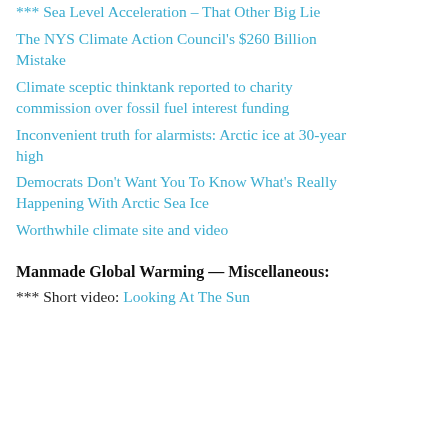*** Sea Level Acceleration – That Other Big Lie
The NYS Climate Action Council's $260 Billion Mistake
Climate sceptic thinktank reported to charity commission over fossil fuel interest funding
Inconvenient truth for alarmists: Arctic ice at 30-year high
Democrats Don't Want You To Know What's Really Happening With Arctic Sea Ice
Worthwhile climate site and video
Manmade Global Warming — Miscellaneous:
*** Short video: Looking At The Sun